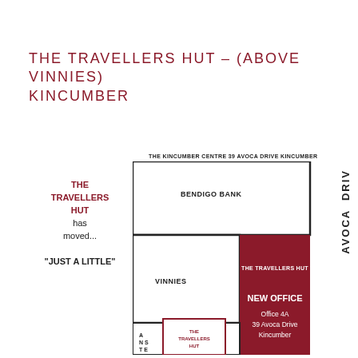THE TRAVELLERS HUT – (ABOVE VINNIES) KINCUMBER
[Figure (map): Floor plan / location map showing The Kincumber Centre at 39 Avoca Drive Kincumber. Shows Bendigo Bank (top), Vinnies (bottom left), and The Travellers Hut new office (bottom right, highlighted in dark red). Also shows old location of The Travellers Hut in small boxes at bottom left. Text on left: THE TRAVELLERS HUT has moved... JUST A LITTLE. Vertical text on right: AVOCA DRIV.]
THE KINCUMBER CENTRE 39 AVOCA DRIVE KINCUMBER
THE TRAVELLERS HUT has moved...
"JUST A LITTLE"
NEW OFFICE
Office 4A
39 Avoca Drive
Kincumber